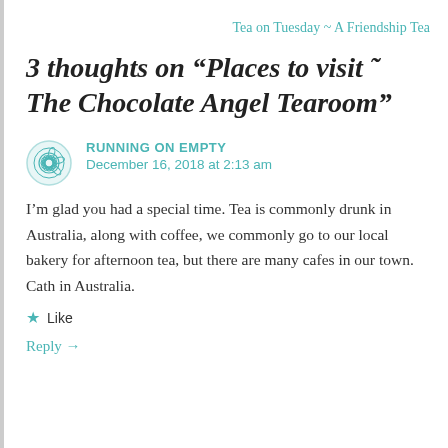Tea on Tuesday ~ A Friendship Tea
3 thoughts on “Places to visit ˜ The Chocolate Angel Tearoom”
RUNNING ON EMPTY
December 16, 2018 at 2:13 am
I’m glad you had a special time. Tea is commonly drunk in Australia, along with coffee, we commonly go to our local bakery for afternoon tea, but there are many cafes in our town. Cath in Australia.
Like
Reply →